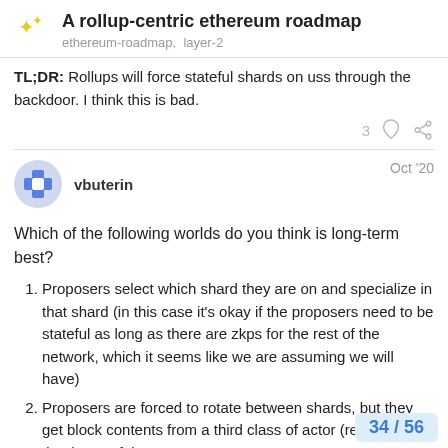A rollup-centric ethereum roadmap
ethereum-roadmap, layer-2
TL;DR: Rollups will force stateful shards on uss through the backdoor. I think this is bad.
vbuterin Oct '20
Which of the following worlds do you think is long-term best?
Proposers select which shard they are on and specialize in that shard (in this case it's okay if the proposers need to be stateful as long as there are zkps for the rest of the network, which it seems like we are assuming we will have)
Proposers are forced to rotate between shards, but they get block contents from a third class of actor (relayers?) that is stateful
Proposers are forced to rotate betwe
34 / 56